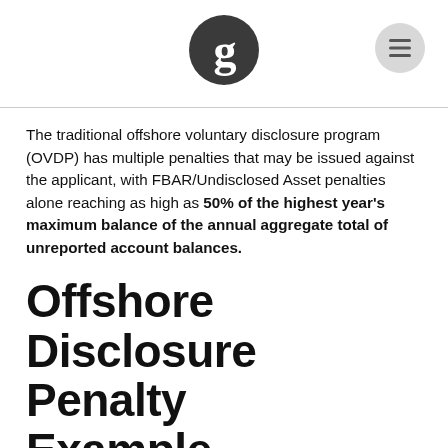[Figure (logo): Guardian-style 'g' logo circle in dark gray, centered in header]
[Figure (other): Hamburger menu icon (three horizontal lines) in a light gray circle, top right of header]
The traditional offshore voluntary disclosure program (OVDP) has multiple penalties that may be issued against the applicant, with FBAR/Undisclosed Asset penalties alone reaching as high as 50% of the highest year's maximum balance of the annual aggregate total of unreported account balances.
Offshore Disclosure Penalty Example